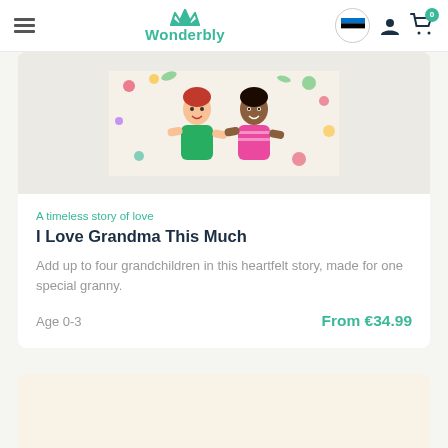Wonderbly
[Figure (illustration): Illustration of two children (one with red hair, one with dark skin) lying on a colorful background with fruits and flowers]
A timeless story of love
I Love Grandma This Much
Add up to four grandchildren in this heartfelt story, made for one special granny.
Age 0-3
From €34.99
[Figure (illustration): Second product card with cream/beige background, partially visible]